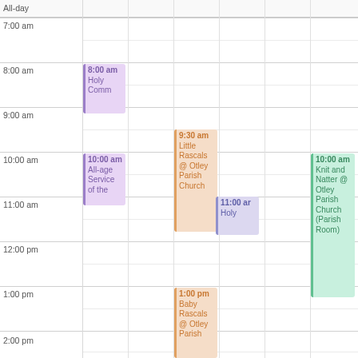All-day
7:00 am
8:00 am
9:00 am
10:00 am
11:00 am
12:00 pm
1:00 pm
2:00 pm
8:00 am Holy Comm
10:00 am All-age Service of the
9:30 am Little Rascals @ Otley Parish Church
11:00 am Holy
10:00 am Knit and Natter @ Otley Parish Church (Parish Room)
1:00 pm Baby Rascals @ Otley Parish